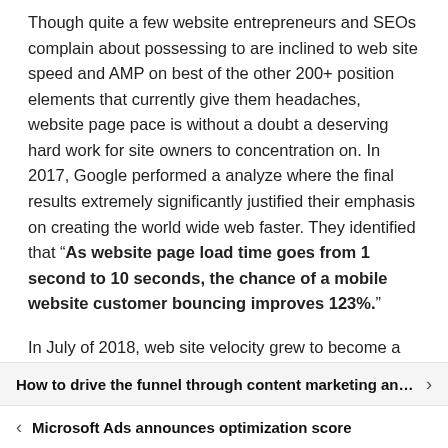Though quite a few website entrepreneurs and SEOs complain about possessing to are inclined to web site speed and AMP on best of the other 200+ position elements that currently give them headaches, website page pace is without a doubt a deserving hard work for site owners to concentration on. In 2017, Google performed a analyze where the final results extremely significantly justified their emphasis on creating the world wide web faster. They identified that "As website page load time goes from 1 second to 10 seconds, the chance of a mobile website customer bouncing improves 123%."
In July of 2018, web site velocity grew to become a position issue for cell queries, and nowadays Google will incorporate even additional speed-similar variables (termed Core Web Vitals) in its ranking algorithms.
How to drive the funnel through content marketing and li...
Microsoft Ads announces optimization score